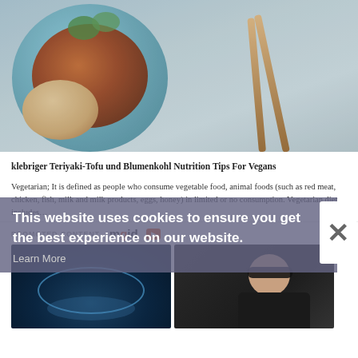[Figure (photo): Overhead shot of teriyaki glazed food in a teal ceramic bowl with chopsticks and a small wooden bowl of sesame seeds on a grey surface]
klebriger Teriyaki-Tofu und Blumenkohl Nutrition Tips For Vegans
Vegetarian; It is defined as people who consume vegetable food, animal foods (such as red meat, chicken, fish, milk and milk products, eggs, honey) in limited or no consumption. Vegetarian diet includes…
This website uses cookies to ensure you get the best experience on our website.
Learn More
PROMOTED CONTENT mgid ▷
[Figure (photo): Underwater photograph of a circular arrangement of statues or figures in dark blue water]
[Figure (photo): Celebrity woman wearing sunglasses and dark outfit, photographed outside]